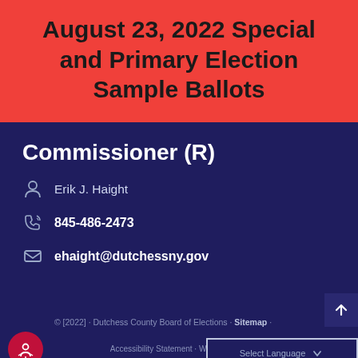August 23, 2022 Special and Primary Election Sample Ballots
Commissioner (R)
Erik J. Haight
845-486-2473
ehaight@dutchessny.gov
© [2022] · Dutchess County Board of Elections · Sitemap · Accessibility Statement · Website Accessibility Issue · Select Language